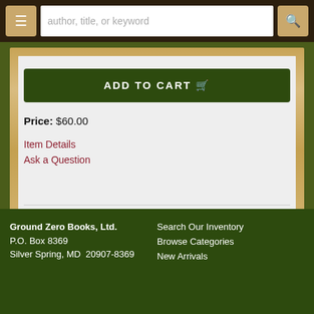author, title, or keyword
ADD TO CART
Price: $60.00
Item Details
Ask a Question
Page 1 of 21
Ground Zero Books, Ltd.
P.O. Box 8369
Silver Spring, MD  20907-8369
Search Our Inventory
Browse Categories
New Arrivals